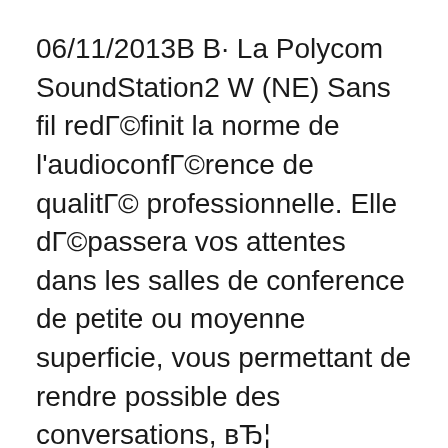06/11/2013В В· La Polycom SoundStation2 W (NE) Sans fil redГ©finit la norme de l'audioconfГ©rence de qualitГ© professionnelle. Elle dГ©passera vos attentes dans les salles de conference de petite ou moyenne superficie, vous permettant de rendre possible des conversations, вЂ¦ 07/06/2014В В· Polycom Soundstation 2W Wireless Conference Unit - Black (Certified Refurbished) BJ289.00 Works and looks like new and backed by a warranty Special offers and product promotions
Polycom SoundStation 2 is ideal for small and medium conference rooms